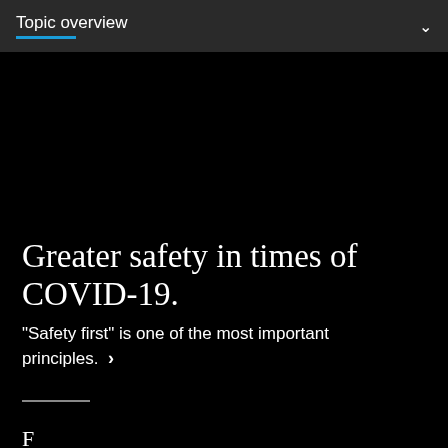Topic overview
Greater safety in times of COVID-19.
"Safety first" is one of the most important principles.  ›